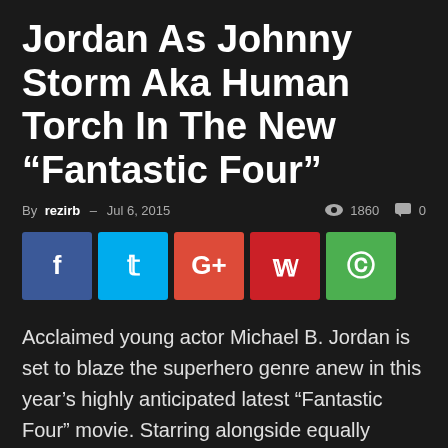Jordan As Johnny Storm Aka Human Torch In The New “Fantastic Four”
By rezirb – Jul 6, 2015   👁 1860   💬 0
[Figure (infographic): Social media share buttons: Facebook (blue), Twitter (light blue), Google+ (red-orange), Pinterest (red), WhatsApp (green)]
Acclaimed young actor Michael B. Jordan is set to blaze the superhero genre anew in this year’s highly anticipated latest “Fantastic Four” movie. Starring alongside equally talented young actors Miles Teller, Kate Mara and Jamie Bell, Jordan plays Johnny Storm aka the Human Torch wherein he undergoes physical changes after mankind’s first journey to an alternative universe. Johnny’s